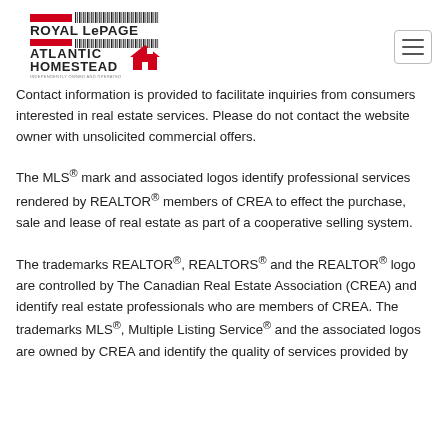[Figure (logo): Royal LePage Atlantic Homestead logo — red and black text with red house icon and barcode-style graphic]
Contact information is provided to facilitate inquiries from consumers interested in real estate services. Please do not contact the website owner with unsolicited commercial offers.
The MLS® mark and associated logos identify professional services rendered by REALTOR® members of CREA to effect the purchase, sale and lease of real estate as part of a cooperative selling system.
The trademarks REALTOR®, REALTORS® and the REALTOR® logo are controlled by The Canadian Real Estate Association (CREA) and identify real estate professionals who are members of CREA. The trademarks MLS®, Multiple Listing Service® and the associated logos are owned by CREA and identify the quality of services provided by